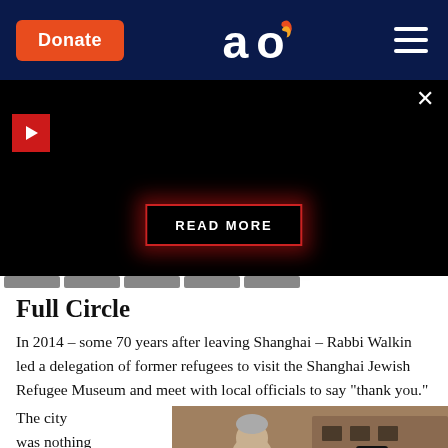Aish.com navigation bar with Donate button and hamburger menu
[Figure (screenshot): Black video/ad area with red play button, close X button, and READ MORE button]
Full Circle
In 2014 – some 70 years after leaving Shanghai – Rabbi Walkin led a delegation of former refugees to visit the Shanghai Jewish Refugee Museum and meet with local officials to say "thank you."
The city was nothing like the way
[Figure (photo): Photo of two people, one with gray hair (Asian man in profile) and one wearing a black hat, standing in front of a brick building]